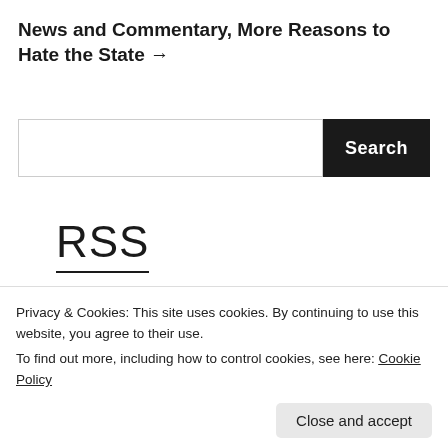News and Commentary, More Reasons to Hate the State →
[Figure (other): Search bar with text input field and black Search button]
RSS
Privacy & Cookies: This site uses cookies. By continuing to use this website, you agree to their use.
To find out more, including how to control cookies, see here: Cookie Policy
Close and accept